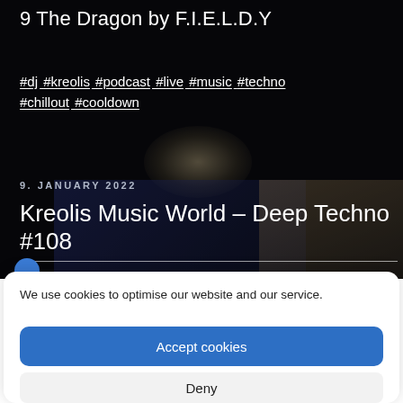9 The Dragon by F.I.E.L.D.Y
#dj #kreolis #podcast #live #music #techno #chillout #cooldown
9. JANUARY 2022
Kreolis Music World – Deep Techno #108
We use cookies to optimise our website and our service.
Accept cookies
Deny